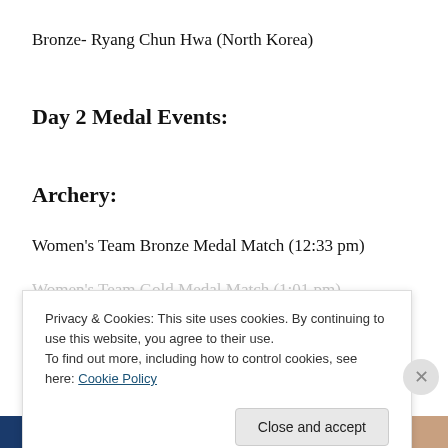Bronze- Ryang Chun Hwa (North Korea)
Day 2 Medal Events:
Archery:
Women's Team Bronze Medal Match (12:33 pm)
Women's Team Gold Medal Match (1:01 pm)
Privacy & Cookies: This site uses cookies. By continuing to use this website, you agree to their use.
To find out more, including how to control cookies, see here: Cookie Policy
Close and accept